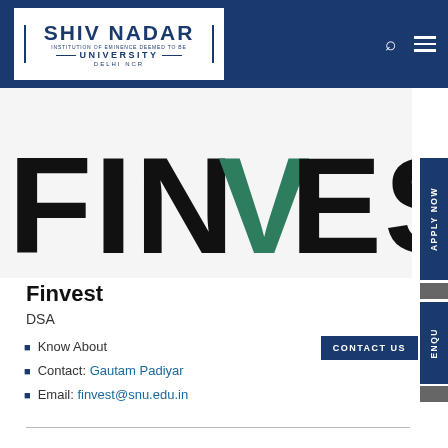SHIV NADAR — INSTITUTION OF EMINENCE DEEMED TO BE — UNIVERSITY — DELHI NCR
[Figure (logo): FINVEST large text logo with green V letter on white background]
Finvest
DSA
Know About
Contact: Gautam Padiyar
Email: finvest@snu.edu.in